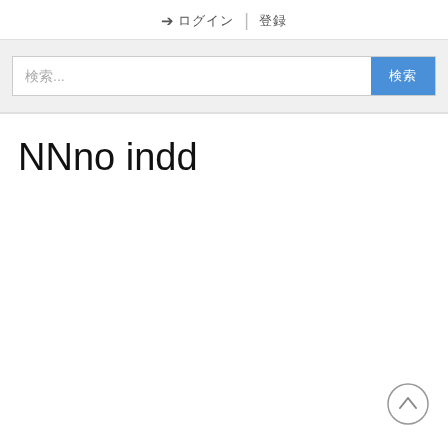➔ ログイン | 登録
[Figure (screenshot): Search bar UI with placeholder text '検索...' and a blue '検索' button on a light grey background]
NNno indd
[Figure (other): Back-to-top circular arrow button in bottom right corner]